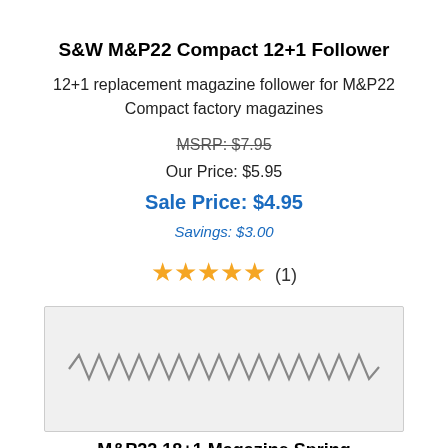S&W M&P22 Compact 12+1 Follower
12+1 replacement magazine follower for M&P22 Compact factory magazines
MSRP: $7.95
Our Price: $5.95
Sale Price: $4.95
Savings: $3.00
★★★★★ (1)
[Figure (photo): Photo of a coiled magazine spring (M&P22 18+1 Magazine Spring) on a light gray background]
M&P22 18+1 Magazine Spring